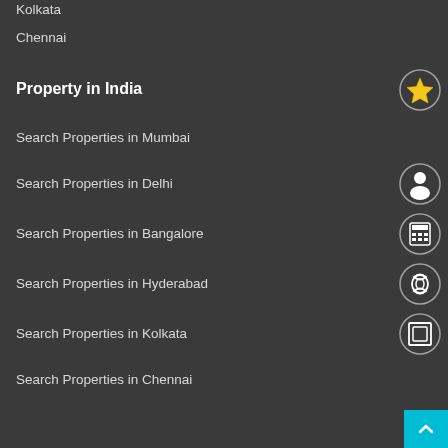Kolkata
Chennai
Property in India
Search Properties in Mumbai
Search Properties in Delhi
Search Properties in Bangalore
Search Properties in Hyderabad
Search Properties in Kolkata
Search Properties in Chennai
Apartment in India
Search Apartments in Mumbai
Search Apartments in Delhi